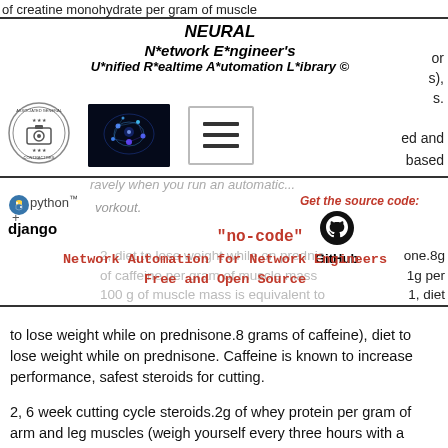of creatine monohydrate per gram of muscle
NEURAL
N*etwork E*ngineer's
U*nified R*ealtime A*utomation L*ibrary ©
[Figure (logo): Circular badge/seal logo with camera icon in center]
[Figure (photo): Blue neural brain network illustration on dark background]
[Figure (illustration): Hamburger menu icon with three horizontal lines in bordered box]
or
s),
s.
ed and
based
[Figure (logo): Python logo with text 'python']
+ django
Get the source code:
[Figure (logo): GitHub Octocat logo with label GitHub]
"no-code"
Network Automation for Network Engineers
Free and Open Source
one.8g
1g per
1, diet
to lose weight while on prednisone.8 grams of caffeine), diet to lose weight while on prednisone. Caffeine is known to increase performance, safest steroids for cutting.
2, 6 week cutting cycle steroids.2g of whey protein per gram of arm and leg muscles (weigh yourself every three hours with a scale)